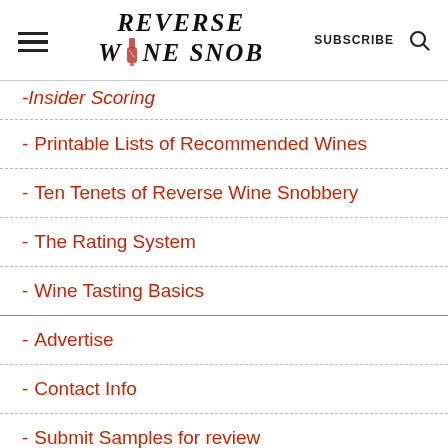Reverse Wine Snob — SUBSCRIBE [search]
- Insider Scoring (partial, italicized)
- Printable Lists of Recommended Wines
- Ten Tenets of Reverse Wine Snobbery
- The Rating System
- Wine Tasting Basics
- Advertise
- Contact Info
- Submit Samples for review